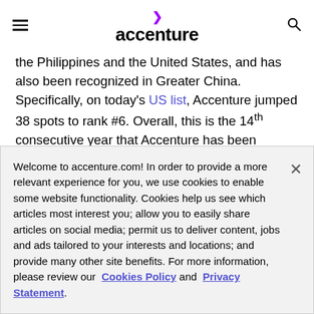accenture
the Philippines and the United States, and has also been recognized in Greater China. Specifically, on today's US list, Accenture jumped 38 spots to rank #6. Overall, this is the 14th consecutive year that Accenture has been recognized by Great Place to Work®.
Welcome to accenture.com! In order to provide a more relevant experience for you, we use cookies to enable some website functionality. Cookies help us see which articles most interest you; allow you to easily share articles on social media; permit us to deliver content, jobs and ads tailored to your interests and locations; and provide many other site benefits. For more information, please review our Cookies Policy and Privacy Statement.